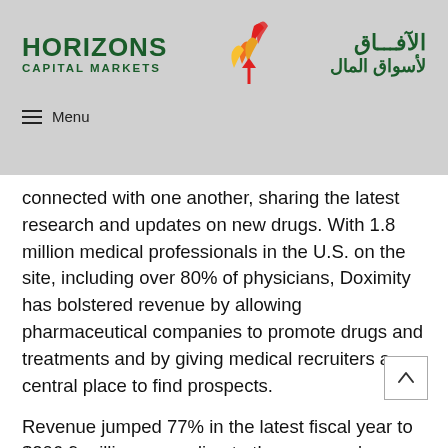[Figure (logo): Horizons Capital Markets logo with Arabic text and stylized arrow graphic]
≡ Menu
connected with one another, sharing the latest research and updates on new drugs. With 1.8 million medical professionals in the U.S. on the site, including over 80% of physicians, Doximity has bolstered revenue by allowing pharmaceutical companies to promote drugs and treatments and by giving medical recruiters a central place to find prospects.
Revenue jumped 77% in the latest fiscal year to $206.9 million, according to the company's prospectus. Because Doximity spends virtually no money on advertising, operating costs are lower than at most venture-backed software companies. That allowed Doximity to boost net income 69%